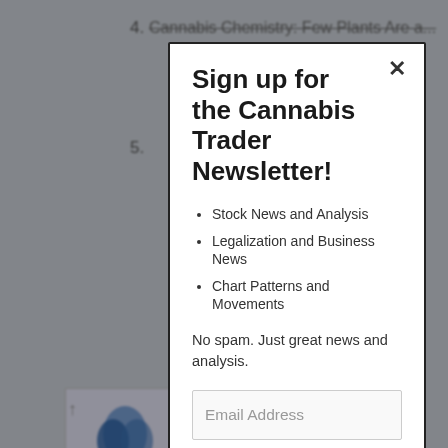4. Cannabis Chemistry: Few Plants Are a...
5. [partially visible] or
[Figure (logo): Cannabis Trader logo with blue leaf icon on light grey background]
Sign up for the Cannabis Trader Newsletter!
Stock News and Analysis
Legalization and Business News
Chart Patterns and Movements
No spam. Just great news and analysis.
Email Address
SUBSCRIBE